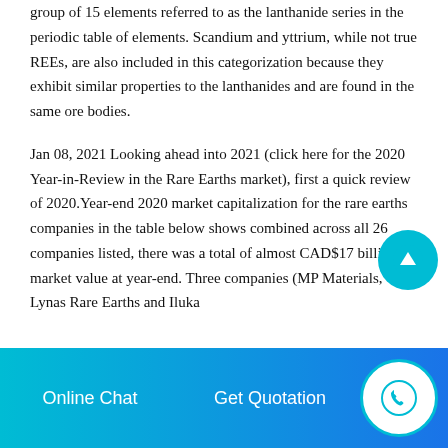group of 15 elements referred to as the lanthanide series in the periodic table of elements. Scandium and yttrium, while not true REEs, are also included in this categorization because they exhibit similar properties to the lanthanides and are found in the same ore bodies.
Jan 08, 2021 Looking ahead into 2021 (click here for the 2020 Year-in-Review in the Rare Earths market), first a quick review of 2020.Year-end 2020 market capitalization for the rare earths companies in the table below shows combined across all 26 companies listed, there was a total of almost CAD$17 billion of market value at year-end. Three companies (MP Materials, Lynas Rare Earths and Iluka
Online Chat   Get Quotation